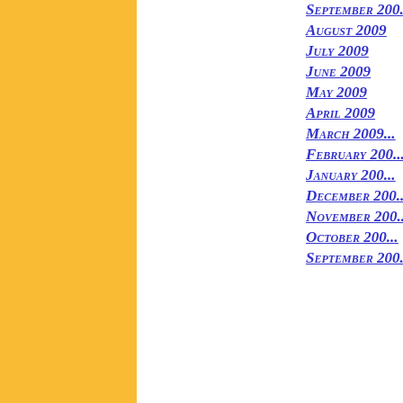[Figure (other): Gold/yellow vertical bar on the left side of the page]
September 200...
August 2009
July 2009
June 2009
May 2009
April 2009
March 2009...
February 200...
January 200...
December 200...
November 200...
October 200...
September 200...